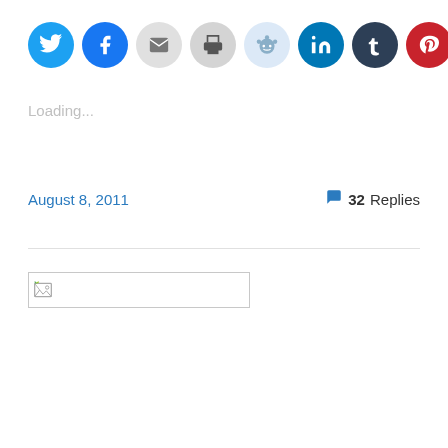[Figure (other): Row of social media sharing icon buttons: Twitter (blue), Facebook (blue), Email (light gray), Print (gray), Reddit (light blue), LinkedIn (teal), Tumblr (dark blue), Pinterest (red), Pocket (red)]
Loading...
August 8, 2011     32 Replies
[Figure (other): Broken image placeholder box with small broken image icon in top-left corner]